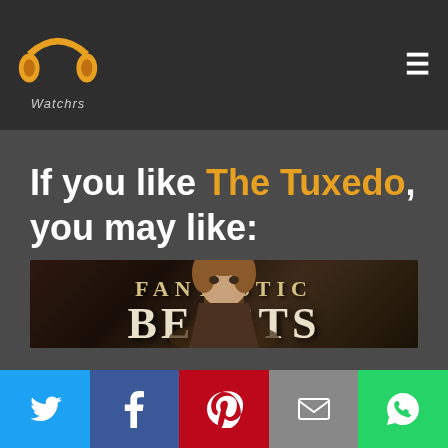PP Watchers logo and navigation
If you like The Tuxedo, you may like:
[Figure (photo): Movie poster for Fantastic Beasts and Where to Find Them, showing the title text and a young man character in the lower portion]
Social share buttons: Twitter, Facebook, Pinterest, Email, WhatsApp